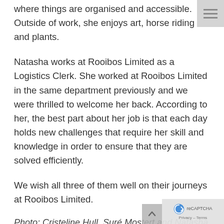where things are organised and accessible. Outside of work, she enjoys art, horse riding and plants.
Natasha works at Rooibos Limited as a Logistics Clerk. She worked at Rooibos Limited in the same department previously and we were thrilled to welcome her back. According to her, the best part about her job is that each day holds new challenges that require her skill and knowledge in order to ensure that they are solved efficiently.
We wish all three of them well on their journeys at Rooibos Limited.
Photo: Cristeline Hull, Suré Mostert and Natasha Farmer